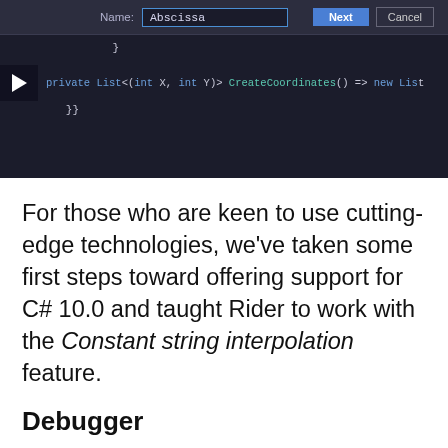[Figure (screenshot): IDE screenshot showing a dialog with Name field containing 'Abscissa', Next and Cancel buttons, and code with a private List<(int X, int Y)> CreateCoordinates() => new List method, with a play button on the left.]
For those who are keen to use cutting-edge technologies, we've taken some first steps toward offering support for C# 10.0 and taught Rider to work with the Constant string interpolation feature.
Debugger
You can now attach to a .NET process right from the Welcome screen! No need to